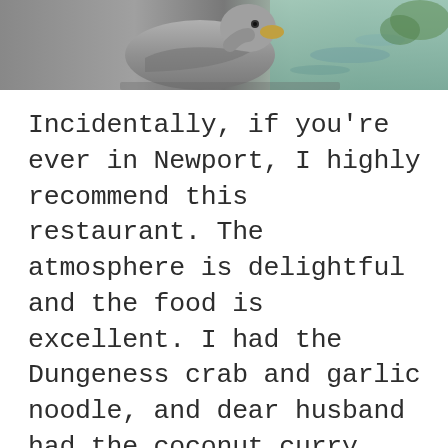[Figure (photo): Top portion of a photo showing what appears to be a bird (likely a seagull or duck) near water, cropped at the bottom edge of a strip at the top of the page.]
Incidentally, if you're ever in Newport, I highly recommend this restaurant. The atmosphere is delightful and the food is excellent. I had the Dungeness crab and garlic noodle, and dear husband had the coconut curry stew with its halibut, rock cod, salmon, shrimp, clams, and scallops. Both were good enough to make you want to slap your mama.